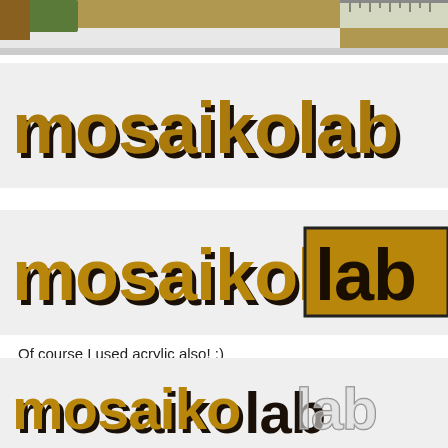[Figure (photo): Top cropped photo showing a ruler and partial image of mosaikolab logo on white background]
[Figure (photo): Laser-cut mosaikolab logo letters in golden/brown wood on white background, text partially cropped on right]
[Figure (photo): Laser-cut mosaikolab logo with 'lab' portion enclosed in a rectangular box, golden/brown wood on white background]
Of course I used acrylic also! :)
[Figure (photo): Laser-cut mosaikolab logo showing mixed materials - brown wood letters for 'mosaiko' and clear acrylic letters for 'lab', partially cropped]